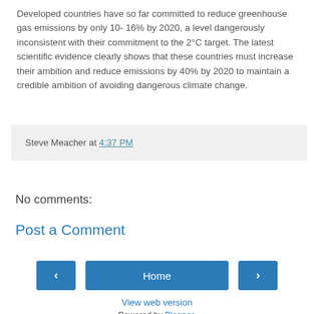Developed countries have so far committed to reduce greenhouse gas emissions by only 10- 16% by 2020, a level dangerously inconsistent with their commitment to the 2°C target. The latest scientific evidence clearly shows that these countries must increase their ambition and reduce emissions by 40% by 2020 to maintain a credible ambition of avoiding dangerous climate change.
Steve Meacher at 4:37 PM
No comments:
Post a Comment
‹
Home
›
View web version
Powered by Blogger.